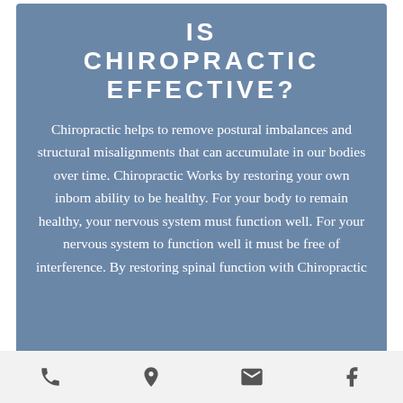IS CHIROPRACTIC EFFECTIVE?
Chiropractic helps to remove postural imbalances and structural misalignments that can accumulate in our bodies over time. Chiropractic Works by restoring your own inborn ability to be healthy. For your body to remain healthy, your nervous system must function well. For your nervous system to function well it must be free of interference. By restoring spinal function with Chiropractic
[phone icon] [location icon] [email icon] [facebook icon]